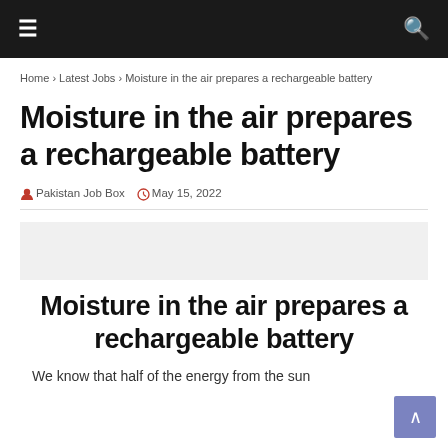≡  🔍
Home › Latest Jobs › Moisture in the air prepares a rechargeable battery
Moisture in the air prepares a rechargeable battery
Pakistan Job Box  May 15, 2022
Moisture in the air prepares a rechargeable battery
We know that half of the energy from the sun